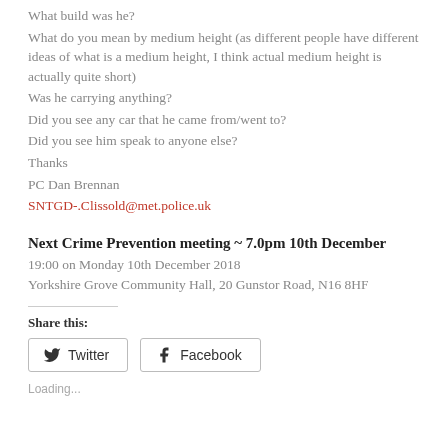What build was he?
What do you mean by medium height (as different people have different ideas of what is a medium height, I think actual medium height is actually quite short)
Was he carrying anything?
Did you see any car that he came from/went to?
Did you see him speak to anyone else?
Thanks
PC Dan Brennan
SNTGD-.Clissold@met.police.uk
Next Crime Prevention meeting ~ 7.0pm 10th December
19:00 on Monday 10th December 2018
Yorkshire Grove Community Hall, 20 Gunstor Road, N16 8HF
Share this:
[Figure (other): Twitter and Facebook share buttons]
Loading...